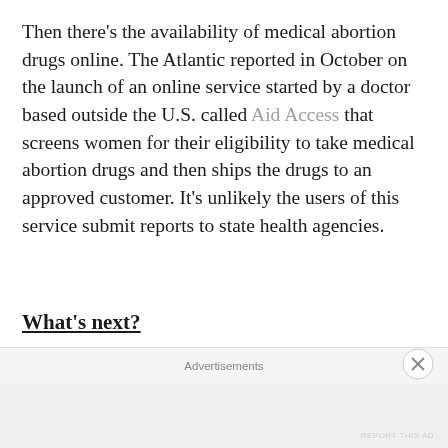Then there's the availability of medical abortion drugs online. The Atlantic reported in October on the launch of an online service started by a doctor based outside the U.S. called Aid Access that screens women for their eligibility to take medical abortion drugs and then ships the drugs to an approved customer. It's unlikely the users of this service submit reports to state health agencies.
What's next?
Whatever the national attitudes, Oregon is likely to continue to be a welcoming state for abortions. The tot…
Advertisements